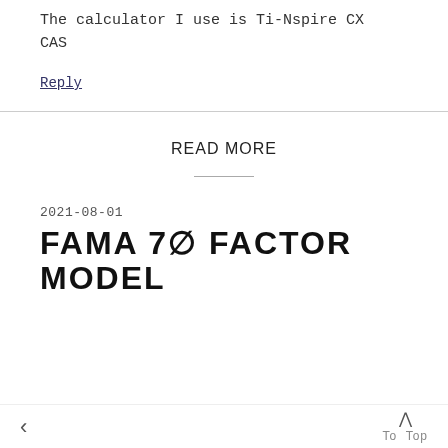The calculator I use is Ti-Nspire CX CAS
Reply
READ MORE
2021-08-01
FAMA 70 FACTOR MODEL
< To Top